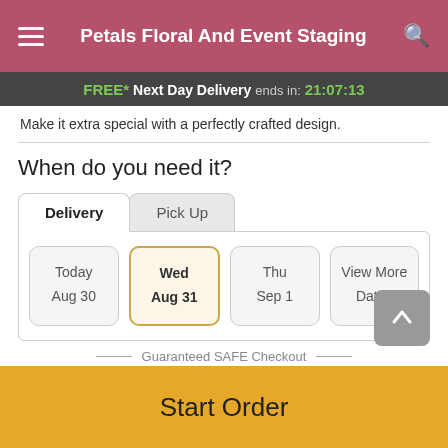Petals Floral And Event Staging
FREE* Next Day Delivery ends in: 21:07:13
Make it extra special with a perfectly crafted design.
When do you need it?
Delivery | Pick Up
Today Aug 30 | Wed Aug 31 | Thu Sep 1 | View More Dates
Guaranteed SAFE Checkout
Start Order